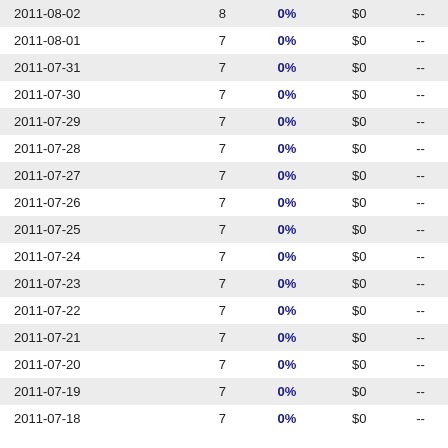| Date |  | % | $ |  |
| --- | --- | --- | --- | --- |
| 2011-08-02 | 8 | 0% | $0 | -- |
| 2011-08-01 | 7 | 0% | $0 | -- |
| 2011-07-31 | 7 | 0% | $0 | -- |
| 2011-07-30 | 7 | 0% | $0 | -- |
| 2011-07-29 | 7 | 0% | $0 | -- |
| 2011-07-28 | 7 | 0% | $0 | -- |
| 2011-07-27 | 7 | 0% | $0 | -- |
| 2011-07-26 | 7 | 0% | $0 | -- |
| 2011-07-25 | 7 | 0% | $0 | -- |
| 2011-07-24 | 7 | 0% | $0 | -- |
| 2011-07-23 | 7 | 0% | $0 | -- |
| 2011-07-22 | 7 | 0% | $0 | -- |
| 2011-07-21 | 7 | 0% | $0 | -- |
| 2011-07-20 | 7 | 0% | $0 | -- |
| 2011-07-19 | 7 | 0% | $0 | -- |
| 2011-07-18 | 7 | 0% | $0 | -- |